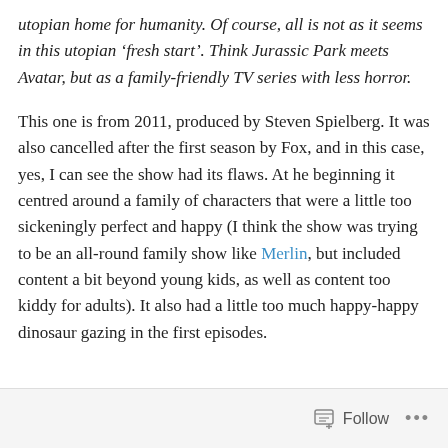utopian home for humanity. Of course, all is not as it seems in this utopian ‘fresh start’. Think Jurassic Park meets Avatar, but as a family-friendly TV series with less horror.
This one is from 2011, produced by Steven Spielberg. It was also cancelled after the first season by Fox, and in this case, yes, I can see the show had its flaws. At he beginning it centred around a family of characters that were a little too sickeningly perfect and happy (I think the show was trying to be an all-round family show like Merlin, but included content a bit beyond young kids, as well as content too kiddy for adults). It also had a little too much happy-happy dinosaur gazing in the first episodes.
Follow ...